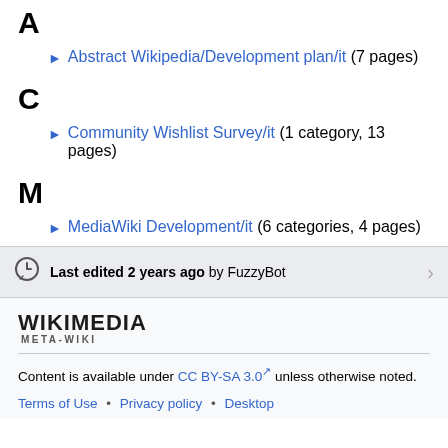A
Abstract Wikipedia/Development plan/it (7 pages)
C
Community Wishlist Survey/it (1 category, 13 pages)
M
MediaWiki Development/it (6 categories, 4 pages)
Last edited 2 years ago by FuzzyBot
[Figure (logo): Wikimedia Meta-Wiki logo with text WIKIMEDIA META-WIKI]
Content is available under CC BY-SA 3.0 unless otherwise noted.
Terms of Use • Privacy policy • Desktop